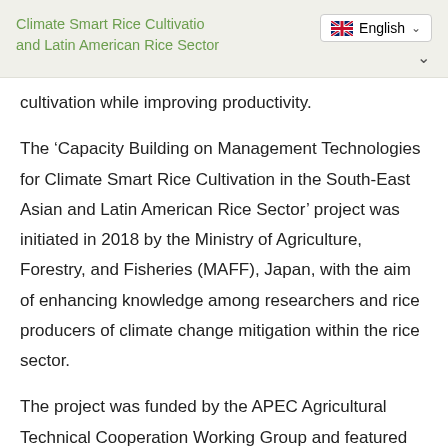Climate Smart Rice Cultivation and Latin American Rice Sector
cultivation while improving productivity.
The ‘Capacity Building on Management Technologies for Climate Smart Rice Cultivation in the South-East Asian and Latin American Rice Sector’ project was initiated in 2018 by the Ministry of Agriculture, Forestry, and Fisheries (MAFF), Japan, with the aim of enhancing knowledge among researchers and rice producers of climate change mitigation within the rice sector.
The project was funded by the APEC Agricultural Technical Cooperation Working Group and featured one workshop and two rounds of capability building training attended by GRA scientists in partnership with researchers, experts, and rice producers.